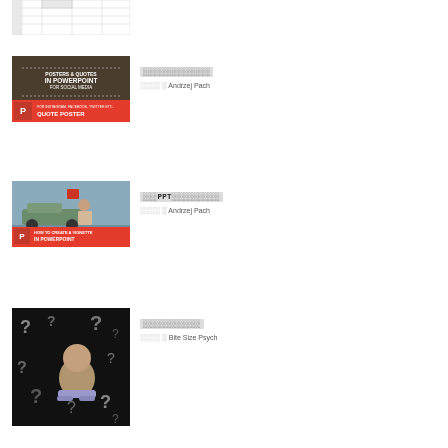[Figure (screenshot): Partial screenshot of a spreadsheet/table with grid lines visible, cropped at top]
[Figure (screenshot): Course thumbnail: Posters & Quotes in PowerPoint for Social Media - Quote Poster, with red PowerPoint logo and text on dark wood background]
░░░░░░░░░░░░░░
░░░░ ░ Andrzej Pach
[Figure (screenshot): Course thumbnail: How to Create a Vignette in PowerPoint, showing woman leaning on vintage car with red PowerPoint logo]
░░░PPT░░░░░░░░░░
░░░░ ░ Andrzej Pach
[Figure (screenshot): Course thumbnail: Woman with arms crossed surrounded by question marks on dark background]
░░░░░░░░░░░░
░░░░ ░ Bite Size Psych